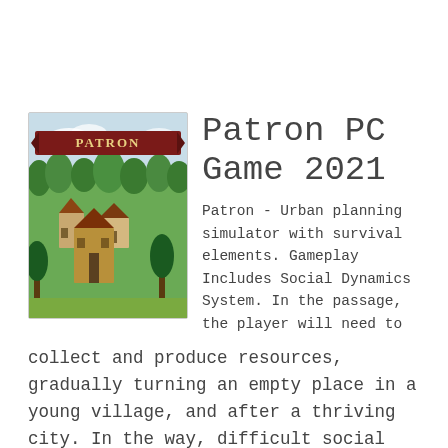[Figure (illustration): Game cover art for Patron PC Game 2021, showing a medieval village with forests and a banner reading PATRON]
Patron PC Game 2021
Patron - Urban planning simulator with survival elements. Gameplay Includes Social Dynamics System. In the passage, the player will need to collect and produce resources, gradually turning an empty place in a young village, and after a thriving city. In the way, difficult social contradictions...